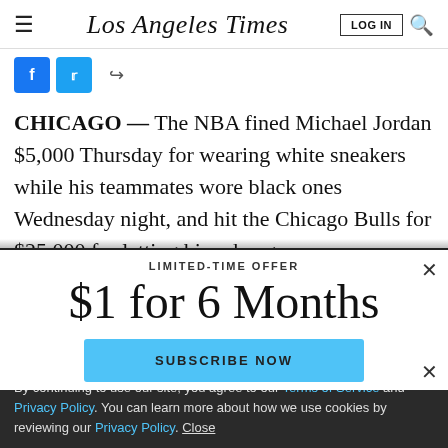Los Angeles Times | LOG IN
[Figure (screenshot): Social share buttons: Facebook, Twitter, and a share icon]
CHICAGO — The NBA fined Michael Jordan $5,000 Thursday for wearing white sneakers while his teammates wore black ones Wednesday night, and hit the Chicago Bulls for $25,000 for letting him change
LIMITED-TIME OFFER
$1 for 6 Months
SUBSCRIBE NOW
By continuing to use our site, you agree to our Terms of Service and Privacy Policy. You can learn more about how we use cookies by reviewing our Privacy Policy. Close